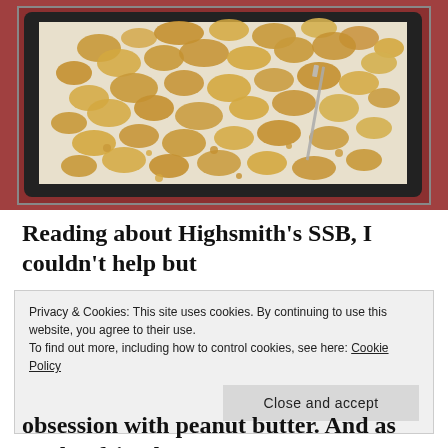[Figure (photo): Overhead shot of granola/oat clusters spread on a parchment-lined dark baking tray, placed on a red wooden surface. A metal utensil is visible on the tray.]
Reading about Highsmith’s SSB, I couldn’t help but
Privacy & Cookies: This site uses cookies. By continuing to use this website, you agree to their use.
To find out more, including how to control cookies, see here: Cookie Policy
Close and accept
obsession with peanut butter. And as my boyfriend’s